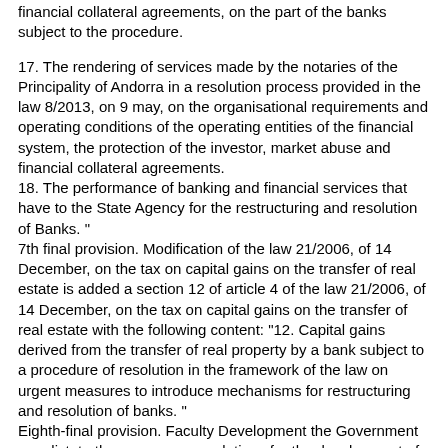financial collateral agreements, on the part of the banks subject to the procedure.
17. The rendering of services made by the notaries of the Principality of Andorra in a resolution process provided in the law 8/2013, on 9 may, on the organisational requirements and operating conditions of the operating entities of the financial system, the protection of the investor, market abuse and financial collateral agreements.
18. The performance of banking and financial services that have to the State Agency for the restructuring and resolution of Banks. "
7th final provision. Modification of the law 21/2006, of 14 December, on the tax on capital gains on the transfer of real estate is added a section 12 of article 4 of the law 21/2006, of 14 December, on the tax on capital gains on the transfer of real estate with the following content: "12. Capital gains derived from the transfer of real property by a bank subject to a procedure of resolution in the framework of the law on urgent measures to introduce mechanisms for restructuring and resolution of banks. "
Eighth-final provision. Faculty Development the Government can dictate the necessary regulations for the development of the provisions of this law.
Ninth final provision. Entry into force this law shall enter into